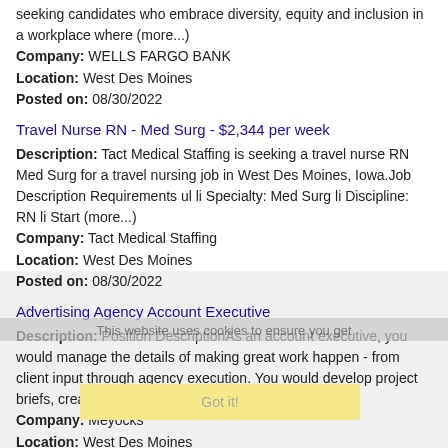seeking candidates who embrace diversity, equity and inclusion in a workplace where (more...)
Company: WELLS FARGO BANK
Location: West Des Moines
Posted on: 08/30/2022
Travel Nurse RN - Med Surg - $2,344 per week
Description: Tact Medical Staffing is seeking a travel nurse RN Med Surg for a travel nursing job in West Des Moines, Iowa.Job Description Requirements ul li Specialty: Med Surg li Discipline: RN li Start (more...)
Company: Tact Medical Staffing
Location: West Des Moines
Posted on: 08/30/2022
Advertising Agency Account Executive
Description: Position DescriptionAs an account executive, you would manage the details of making great work happen - from client input through agency execution. You would develop project briefs, create and manage (more...)
Company: Meyocks
Location: West Des Moines
Posted on: 08/30/2022